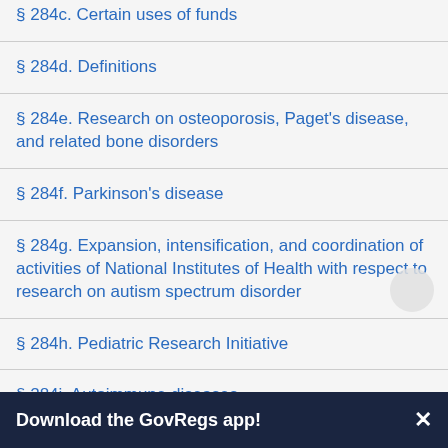§ 284c. Certain uses of funds
§ 284d. Definitions
§ 284e. Research on osteoporosis, Paget's disease, and related bone disorders
§ 284f. Parkinson's disease
§ 284g. Expansion, intensification, and coordination of activities of National Institutes of Health with respect to research on autism spectrum disorder
§ 284h. Pediatric Research Initiative
§ 284i. Autoimmune diseases
Download the GovRegs app!